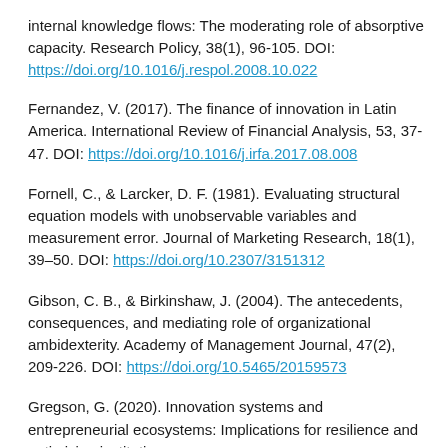internal knowledge flows: The moderating role of absorptive capacity. Research Policy, 38(1), 96-105. DOI: https://doi.org/10.1016/j.respol.2008.10.022
Fernandez, V. (2017). The finance of innovation in Latin America. International Review of Financial Analysis, 53, 37-47. DOI: https://doi.org/10.1016/j.irfa.2017.08.008
Fornell, C., & Larcker, D. F. (1981). Evaluating structural equation models with unobservable variables and measurement error. Journal of Marketing Research, 18(1), 39–50. DOI: https://doi.org/10.2307/3151312
Gibson, C. B., & Birkinshaw, J. (2004). The antecedents, consequences, and mediating role of organizational ambidexterity. Academy of Management Journal, 47(2), 209-226. DOI: https://doi.org/10.5465/20159573
Gregson, G. (2020). Innovation systems and entrepreneurial ecosystems: Implications for resilience and optimizing institutions...